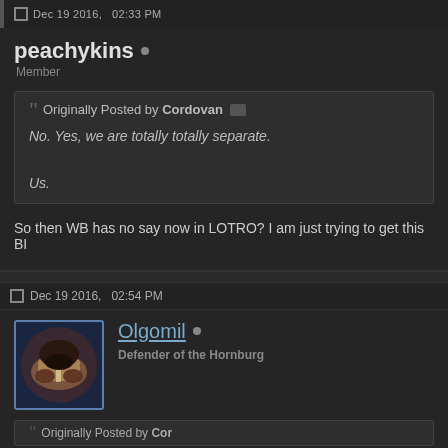peachykins • Member
Originally Posted by Cordovan
No. Yes, we are totally separate.

Us.
So then WB has no say now in LOTRO? I am just trying to get this BI...
Dec 19 2016,  02:54 PM
Olgomil • Defender of the Hornburg